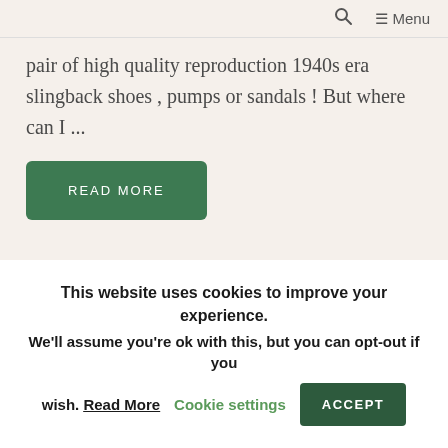🔍  ☰ Menu
pair of high quality reproduction 1940s era slingback shoes , pumps or sandals ! But where can I ...
READ MORE
1940's in fashion, 1940s Dress Code, 1940s shoes, vintage fashion
This website uses cookies to improve your experience. We'll assume you're ok with this, but you can opt-out if you wish. Read More  Cookie settings  ACCEPT